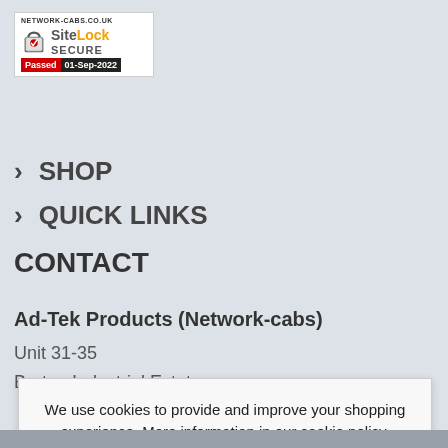[Figure (logo): SiteLock SECURE badge for network-cabs.co.uk, Passed 01-Sep-2022]
> SHOP
> QUICK LINKS
CONTACT
Ad-Tek Products (Network-cabs)
Unit 31-35
Broton Industrial Estate
We use cookies to provide and improve your shopping experience. More information in our cookie policy.
ACCEPT COOKIES